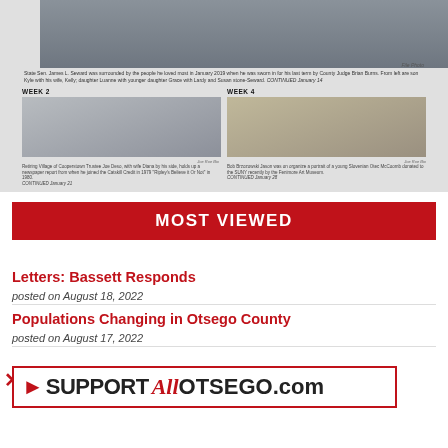[Figure (photo): Top portion of a newspaper supplement page showing a main photo of people (possibly a family gathering), and two smaller photos labeled WEEK 2 and WEEK 4 below it. WEEK 2 shows a couple holding a newspaper, WEEK 4 shows a man next to a portrait painting.]
State Sen. James L. Seward was surrounded by the people he loved most in January 2019 when he was sworn in for his last term by County Judge Brian Burns. From left are son Kyle with his wife, Kelly; daughter Luanne with younger daughter Grace with Lardy and Susan stone-Seward. CONTINUED January 14
Retiring Village of Cooperstown Trustee Joe Deso, with wife Diana by his side, holds up a newspaper report from when he joined the Catskill Credit in 1979 'Ripley's Believe it Or Not' in 1980. CONTINUED January 21
Bob Brzozowski Jason was on organize a portrait of a young Slovenian Otec McCoomb donated to the SUNY recently by the Fenimore Art Museum. CONTINUED January 28
THURSDAY, DECEMBER 30, 2021
SOUVENIR SUPPLEMENT TO HOMETOWN ONEONTA, THE FREEMAN'S JOURNAL & WWW.ALLOTSEGO.COM LARGEST COMBINED NEWSPAPER CIRCULATION and NEWS WEBSITE IN OTSEGO COUNTY
MOST VIEWED
Letters: Bassett Responds
posted on August 18, 2022
Populations Changing in Otsego County
posted on August 17, 2022
[Figure (logo): SUPPORT AllOTSEGO.com banner advertisement with red arrow, bold text, and red 'All' script logo]